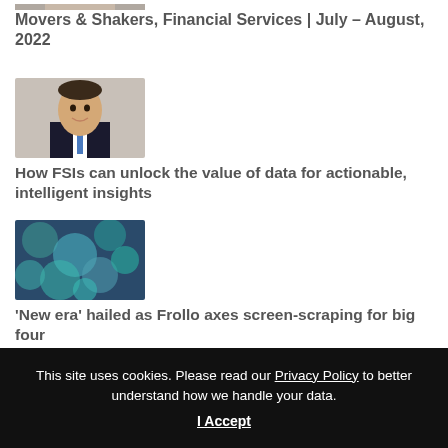[Figure (photo): Partial headshot photo at top of page, cropped]
Movers & Shakers, Financial Services | July – August, 2022
[Figure (photo): Headshot of a man in a dark suit with a blue tie, smiling]
How FSIs can unlock the value of data for actionable, intelligent insights
[Figure (photo): Abstract blue-green bubbles or bokeh image]
'New era' hailed as Frollo axes screen-scraping for big four
[Figure (screenshot): Screenshot of CommBank digital platform interface with magnifying glass]
CBA digital platforms see surge in activity
This site uses cookies. Please read our Privacy Policy to better understand how we handle your data.
I Accept